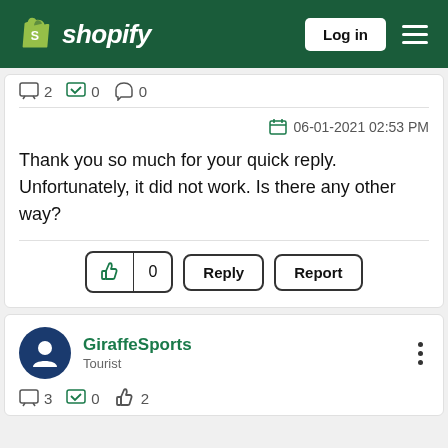shopify — Log in
Thank you so much for your quick reply. Unfortunately, it did not work. Is there any other way?
06-01-2021 02:53 PM
GiraffeSports
Tourist
3  0  2